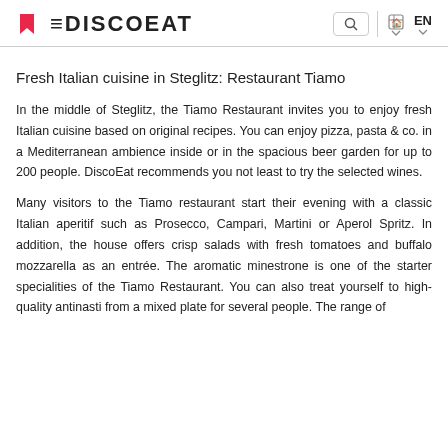DISCOEAT
Fresh Italian cuisine in Steglitz: Restaurant Tiamo
In the middle of Steglitz, the Tiamo Restaurant invites you to enjoy fresh Italian cuisine based on original recipes. You can enjoy pizza, pasta & co. in a Mediterranean ambience inside or in the spacious beer garden for up to 200 people. DiscoEat recommends you not least to try the selected wines.
Many visitors to the Tiamo restaurant start their evening with a classic Italian aperitif such as Prosecco, Campari, Martini or Aperol Spritz. In addition, the house offers crisp salads with fresh tomatoes and buffalo mozzarella as an entrée. The aromatic minestrone is one of the starter specialities of the Tiamo Restaurant. You can also treat yourself to high-quality antinasti from a mixed plate for several people. The range of